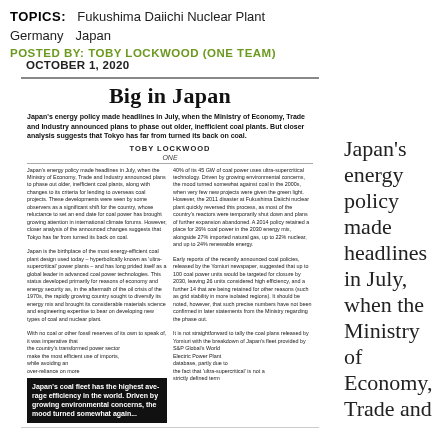TOPICS: Fukushima Daiichi Nuclear Plant Germany Japan
POSTED BY: TOBY LOCKWOOD (ONE TEAM)   OCTOBER 1, 2020
[Figure (screenshot): Article titled 'Big in Japan' with two-column body text and a black pull-quote box]
Japan's energy policy made headlines in July, when the Ministry of Economy, Trade and Industry